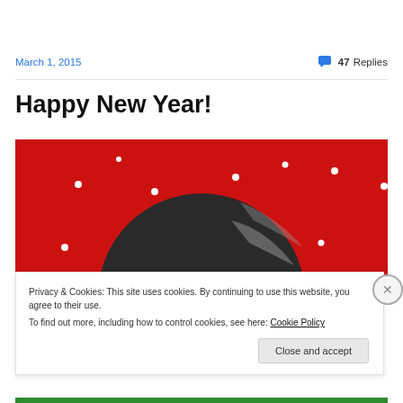March 1, 2015
47 Replies
Happy New Year!
[Figure (photo): Red background with white dots/snowflakes and a dark circular image (appears to show a globe or ball with metallic elements), partially cut off at the bottom.]
Privacy & Cookies: This site uses cookies. By continuing to use this website, you agree to their use.
To find out more, including how to control cookies, see here: Cookie Policy
Close and accept